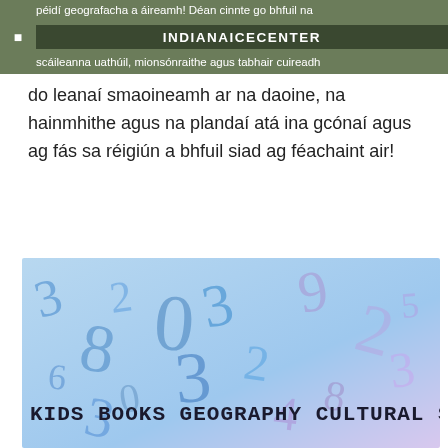péidí geografacha a áireamh! Déan cinnte go bhfuil na scáileanna uathúil, mionsónraithe agus tabhair cuireadh | INDIANAICECENTER
do leanaí smaoineamh ar na daoine, na hainmhithe agus na plandaí atá ina gcónaí agus ag fás sa réigiún a bhfuil siad ag féachaint air!
[Figure (illustration): Colorful illustration with overlapping blue and purple numbers scattered across the image. Text overlay reads: KIDS BOOKS GEOGRAPHY CULTURAL STU]